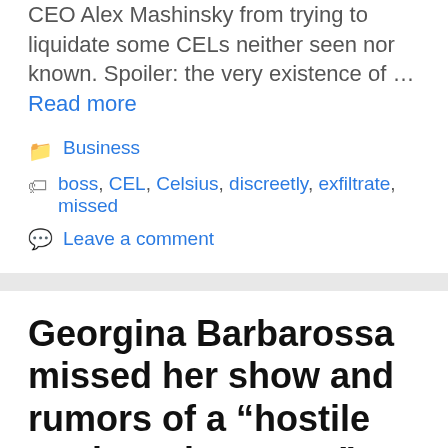CEO Alex Mashinsky from trying to liquidate some CELs neither seen nor known. Spoiler: the very existence of … Read more
Business
boss, CEL, Celsius, discreetly, exfiltrate, missed
Leave a comment
Georgina Barbarossa missed her show and rumors of a “hostile work environment” began
August 10, 2022